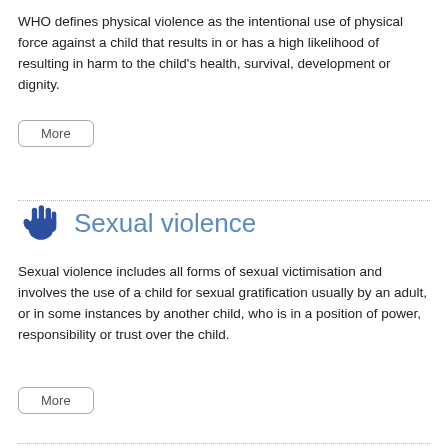WHO defines physical violence as the intentional use of physical force against a child that results in or has a high likelihood of resulting in harm to the child's health, survival, development or dignity.
More
Sexual violence
Sexual violence includes all forms of sexual victimisation and involves the use of a child for sexual gratification usually by an adult, or in some instances by another child, who is in a position of power, responsibility or trust over the child.
More